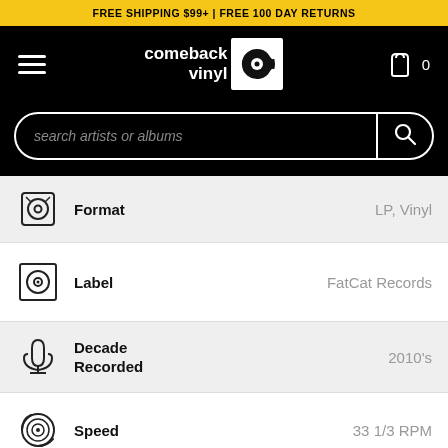FREE SHIPPING $99+ | FREE 100 DAY RETURNS
[Figure (logo): Comeback Vinyl logo with hamburger menu and cart icon on black navigation bar]
[Figure (screenshot): Search bar with placeholder text 'search artists or albums' and search button]
| Icon | Attribute | Value |
| --- | --- | --- |
| [vinyl icon] | Format | LP, Vinyl |
| [record icon] | Label | FatCat Records |
| [mic icon] | Decade Recorded | 2010's |
| [spin icon] | Speed | 33 1/3 RPM |